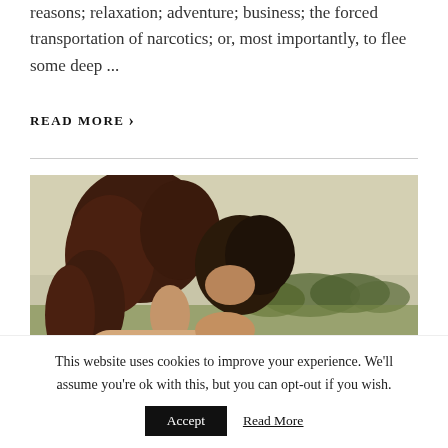reasons; relaxation; adventure; business; the forced transportation of narcotics; or, most importantly, to flee some deep ...
READ MORE ›
[Figure (photo): Two people embracing outdoors, viewed from behind. One person has long dark reddish-brown hair. Background shows a blurred green landscape with trees under a pale sky.]
This website uses cookies to improve your experience. We'll assume you're ok with this, but you can opt-out if you wish.
Accept   Read More